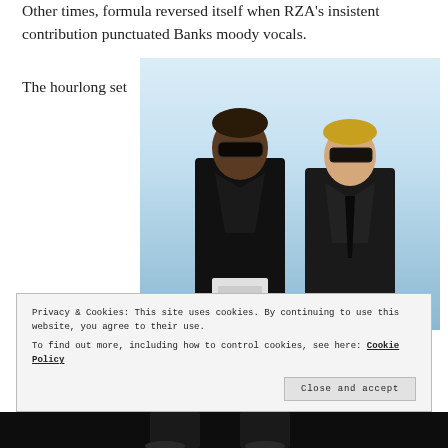Other times, formula reversed itself when RZA's insistent contribution punctuated Banks moody vocals.
The hourlong set
[Figure (photo): Two men in black suits and sunglasses posing against a light blue/white background. The man on the left is Black with glasses; the man on the right has blonde hair with dark sunglasses.]
Privacy & Cookies: This site uses cookies. By continuing to use this website, you agree to their use.
To find out more, including how to control cookies, see here: Cookie Policy
Close and accept
[Figure (photo): Bottom strip showing partial view of two figures in black against dark background.]